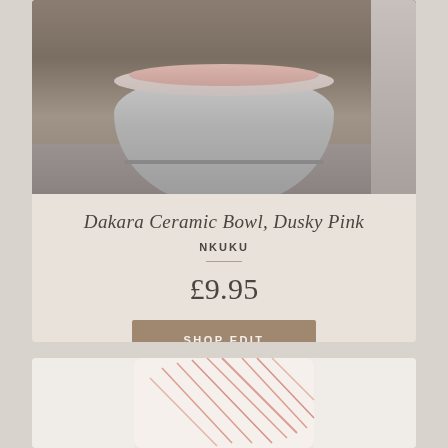[Figure (photo): Photo of a Dakara Ceramic Bowl in Dusky Pink, a rounded light grey/white ceramic bowl with pink interior, photographed on a stone/concrete surface with another item partially visible on the right]
Dakara Ceramic Bowl, Dusky Pink
NKUKU
£9.95
SHOP EDIT
[Figure (photo): Bottom portion of a second product card showing a white lamp shade or ceramic with diagonal red/coral line pattern]